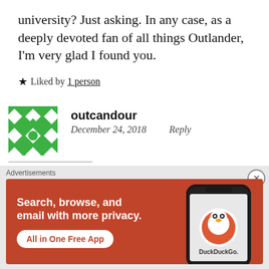university? Just asking. In any case, as a deeply devoted fan of all things Outlander, I'm very glad I found you.
★ Liked by 1 person
outcandour
December 24, 2018    Reply
Haha- thank you so much! I wish I was all
[Figure (infographic): DuckDuckGo advertisement banner: orange/red background with text 'Search, browse, and email with more privacy. All in One Free App' and a phone showing the DuckDuckGo logo]
Advertisements